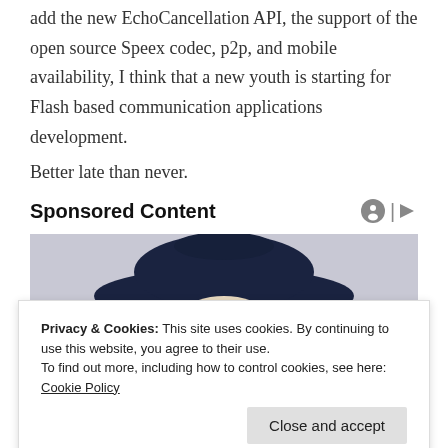add the new EchoCancellation API, the support of the open source Speex codec, p2p, and mobile availability, I think that a new youth is starting for Flash based communication applications development.
Better late than never.
Sponsored Content
[Figure (photo): Person wearing a dark cowboy hat, visible from the shoulders up, against a light grey background.]
Privacy & Cookies: This site uses cookies. By continuing to use this website, you agree to their use.
To find out more, including how to control cookies, see here: Cookie Policy
Close and accept